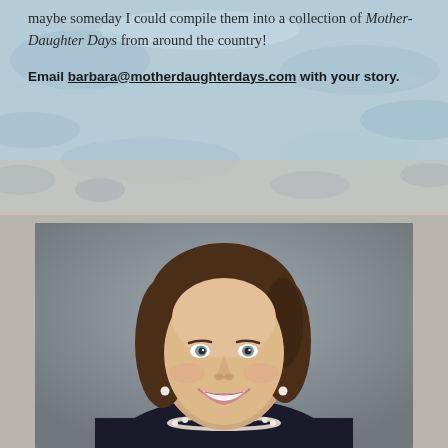[Figure (illustration): Watercolor-style background with swimmers in blue water, partially visible at top of page]
maybe someday I could compile them into a collection of Mother-Daughter Days from around the country!
Email barbara@motherdaughterdays.com with your story.
[Figure (photo): Professional headshot portrait of a woman with brown hair, wearing a black top and pearl necklace, smiling, photographed against a gray gradient background]